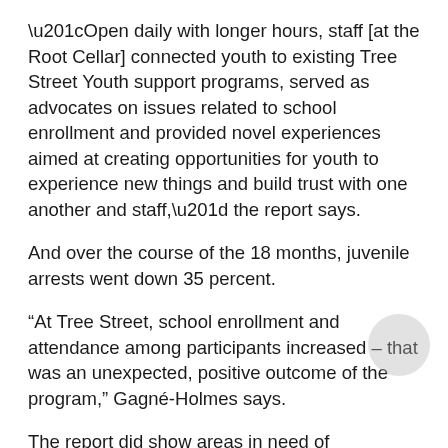“Open daily with longer hours, staff [at the Root Cellar] connected youth to existing Tree Street Youth support programs, served as advocates on issues related to school enrollment and provided novel experiences aimed at creating opportunities for youth to experience new things and build trust with one another and staff,” the report says.
And over the course of the 18 months, juvenile arrests went down 35 percent.
“At Tree Street, school enrollment and attendance among participants increased – that was an unexpected, positive outcome of the program,” Gagné-Holmes says.
The report did show areas in need of improvement. The cultural brokering and family engagement component could be enhanced to better serve the families, and greater collaboration around available transportation options would have increased youth engagement at the Root Cellar.